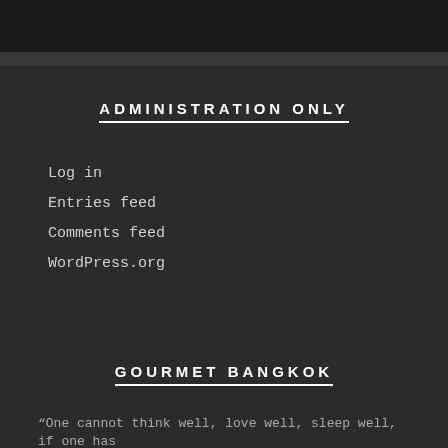ADMINISTRATION ONLY
Log in
Entries feed
Comments feed
WordPress.org
GOURMET BANGKOK
“One cannot think well, love well, sleep well, if one has